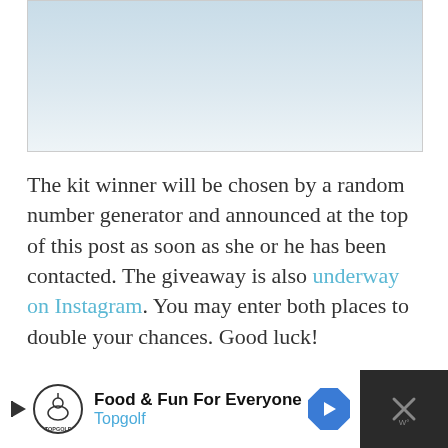[Figure (photo): Top portion of a photo showing a light blue and white background, partially cropped]
The kit winner will be chosen by a random number generator and announced at the top of this post as soon as she or he has been contacted. The giveaway is also underway on Instagram. You may enter both places to double your chances. Good luck!
[Figure (screenshot): Advertisement banner for Topgolf: Food & Fun For Everyone, with Topgolf logo and navigation arrow icon on dark background]